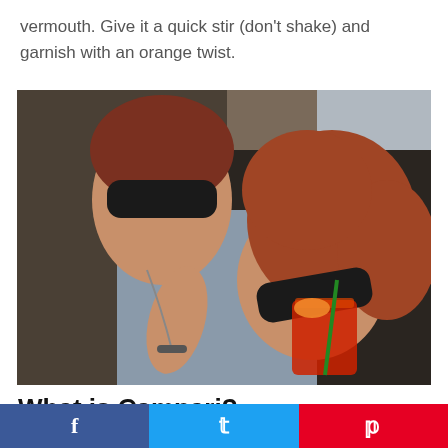vermouth. Give it a quick stir (don't shake) and garnish with an orange twist.
[Figure (photo): Two women wearing sunglasses sitting outdoors in sunlight, one holding a red cocktail drink with a straw and orange garnish, both smiling and leaning together]
What is Campari?
f  Twitter  p